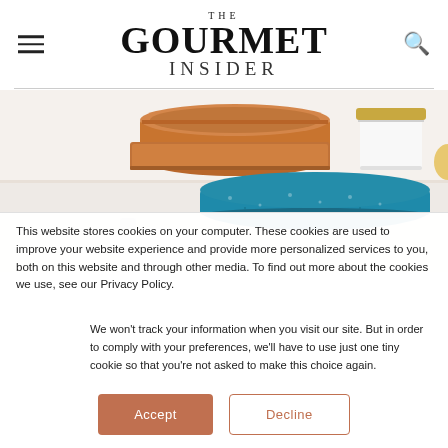THE GOURMET INSIDER
[Figure (photo): Cookware items including copper/terracotta baking pans, a white canister with gold lid, and a teal speckled bowl on white shelves]
This website stores cookies on your computer. These cookies are used to improve your website experience and provide more personalized services to you, both on this website and through other media. To find out more about the cookies we use, see our Privacy Policy.
We won't track your information when you visit our site. But in order to comply with your preferences, we'll have to use just one tiny cookie so that you're not asked to make this choice again.
Accept
Decline